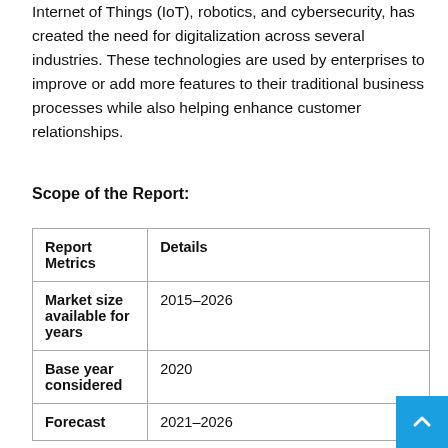Internet of Things (IoT), robotics, and cybersecurity, has created the need for digitalization across several industries. These technologies are used by enterprises to improve or add more features to their traditional business processes while also helping enhance customer relationships.
Scope of the Report:
| Report Metrics | Details |
| --- | --- |
| Market size available for years | 2015–2026 |
| Base year considered | 2020 |
| Forecast | 2021–2026 |